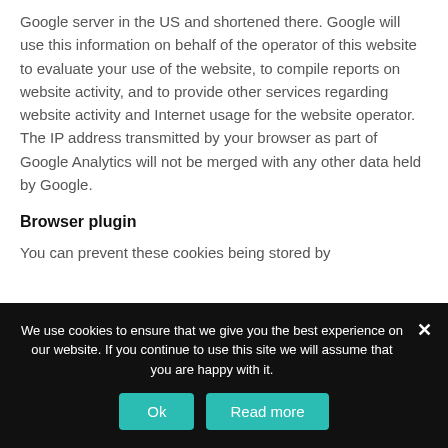Google server in the US and shortened there. Google will use this information on behalf of the operator of this website to evaluate your use of the website, to compile reports on website activity, and to provide other services regarding website activity and Internet usage for the website operator. The IP address transmitted by your browser as part of Google Analytics will not be merged with any other data held by Google.
Browser plugin
You can prevent these cookies being stored by
We use cookies to ensure that we give you the best experience on our website. If you continue to use this site we will assume that you are happy with it.